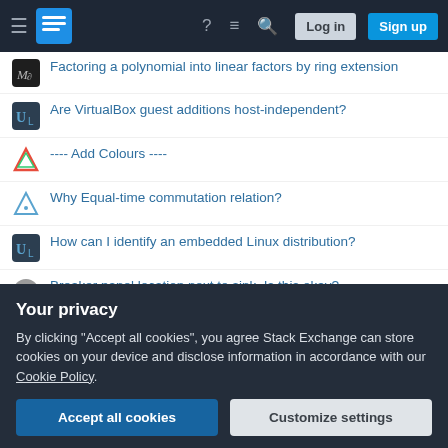Stack Exchange navigation bar with Log in and Sign up buttons
Factoring a polynomial into linear factors by ring extension
Are VirtualBox guest additions host-independent?
---- Add Colours ----
Why Equal-time commutation relation?
How can I identify an embedded Linux distribution?
Breaker panel location next to sink. Is this okay?
In what Western Countries has any party or coalition been elected gaining a supermajority or such majority permitting constitutional amendments?
How do Christians respond to the criticism that Jesus of Nazareth did not bring world peace?
Your privacy
By clicking "Accept all cookies", you agree Stack Exchange can store cookies on your device and disclose information in accordance with our Cookie Policy.
Accept all cookies  Customize settings